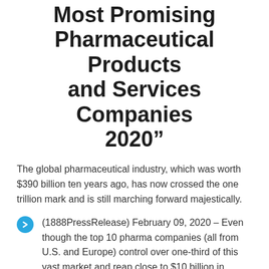Most Promising Pharmaceutical Products and Services Companies 2020"
The global pharmaceutical industry, which was worth $390 billion ten years ago, has now crossed the one trillion mark and is still marching forward majestically.
(1888PressRelease) February 09, 2020 – Even though the top 10 pharma companies (all from U.S. and Europe) control over one-third of this vast market and reap close to $10 billion in revenue each year, a large number of startups